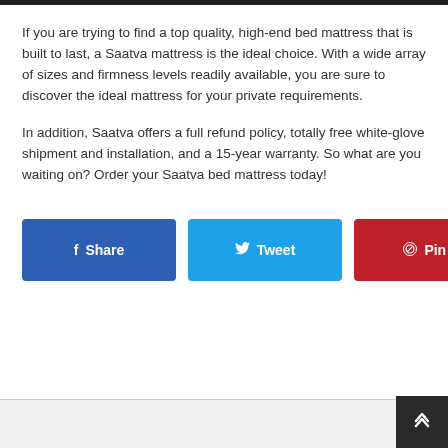If you are trying to find a top quality, high-end bed mattress that is built to last, a Saatva mattress is the ideal choice. With a wide array of sizes and firmness levels readily available, you are sure to discover the ideal mattress for your private requirements.
In addition, Saatva offers a full refund policy, totally free white-glove shipment and installation, and a 15-year warranty. So what are you waiting on? Order your Saatva bed mattress today!
[Figure (other): Social sharing buttons: Share (Facebook, blue), Tweet (Twitter, light blue), Pin it (Pinterest, red)]